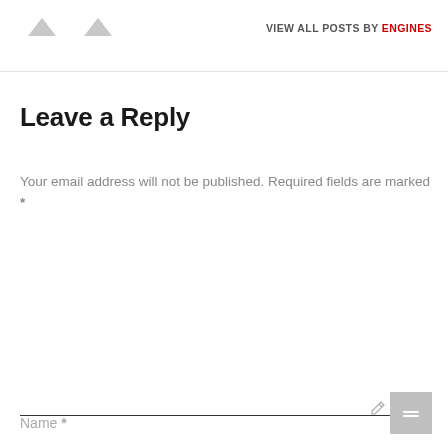[Figure (illustration): Two gray placeholder avatar icons side by side at the top left]
VIEW ALL POSTS BY ENGINES
Leave a Reply
Your email address will not be published. Required fields are marked *
Comment
Name *